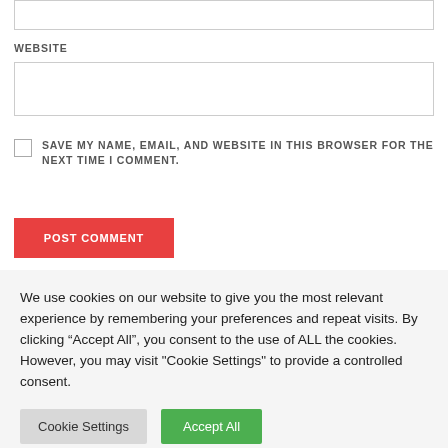WEBSITE
SAVE MY NAME, EMAIL, AND WEBSITE IN THIS BROWSER FOR THE NEXT TIME I COMMENT.
POST COMMENT
We use cookies on our website to give you the most relevant experience by remembering your preferences and repeat visits. By clicking “Accept All”, you consent to the use of ALL the cookies. However, you may visit "Cookie Settings" to provide a controlled consent.
Cookie Settings
Accept All